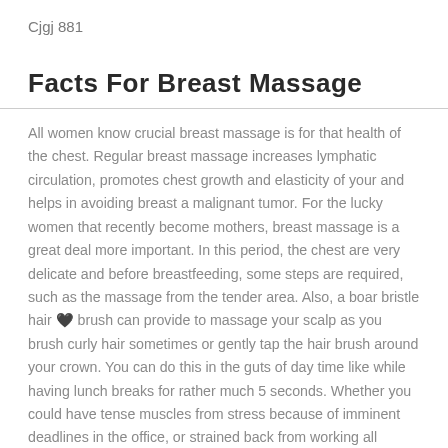Cjgj 881
Facts For Breast Massage
All women know crucial breast massage is for that health of the chest. Regular breast massage increases lymphatic circulation, promotes chest growth and elasticity of your and helps in avoiding breast a malignant tumor. For the lucky women that recently become mothers, breast massage is a great deal more important. In this period, the chest are very delicate and before breastfeeding, some steps are required, such as the massage from the tender area. Also, a boar bristle hair 🖤 brush can provide to massage your scalp as you brush curly hair sometimes or gently tap the hair brush around your crown. You can do this in the guts of day time like while having lunch breaks for rather much 5 seconds. Whether you could have tense muscles from stress because of imminent deadlines in the office, or strained back from working all holiday to the ranch, or your entire body aches from spring cleaning your home, a shiatsu massage chair will work at removing those kinks and knots if you happen to want the following. Expectant mothers can expect a lot